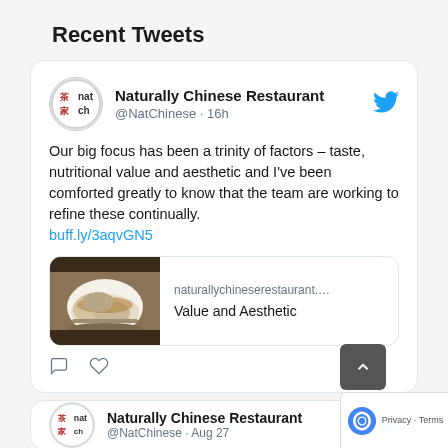Recent Tweets
[Figure (screenshot): Tweet from Naturally Chinese Restaurant (@NatChinese, 16h ago) with text: 'Our big focus has been a trinity of factors – taste, nutritional value and aesthetic and I've been comforted greatly to know that the team are working to refine these continually. buff.ly/3aqvGN5'. Includes a link preview card with a food photo and text 'naturallychineserestaurant.... Value and Aesthetic'. Below the tweet are comment and like icons, and a scroll-up button. A second tweet header for Naturally Chinese Restaurant is partially visible at the bottom.]